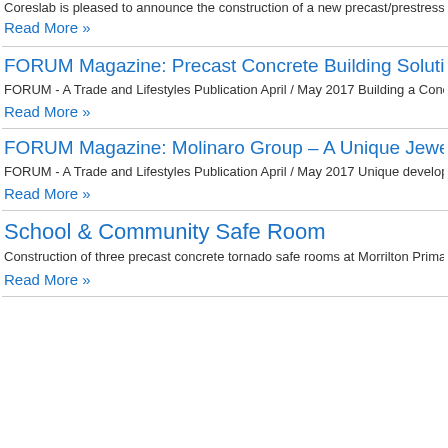Coreslab is pleased to announce the construction of a new precast/prestressed conc…
Read More »
FORUM Magazine: Precast Concrete Building Solution…
FORUM - A Trade and Lifestyles Publication April / May 2017 Building a Concrete Fu…
Read More »
FORUM Magazine: Molinaro Group – A Unique Jewel –…
FORUM - A Trade and Lifestyles Publication April / May 2017 Unique development c…
Read More »
School & Community Safe Room
Construction of three precast concrete tornado safe rooms at Morrilton Primary Scho…
Read More »